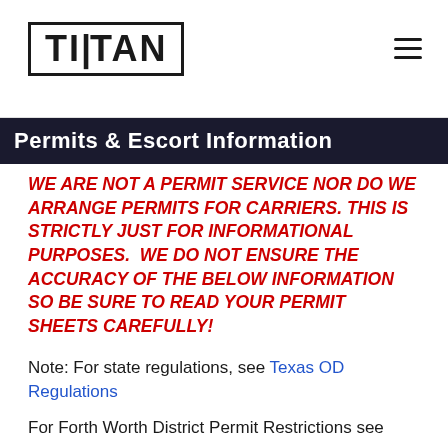TITAN
Permits & Escort Information
WE ARE NOT A PERMIT SERVICE NOR DO WE ARRANGE PERMITS FOR CARRIERS. THIS IS STRICTLY JUST FOR INFORMATIONAL PURPOSES.  WE DO NOT ENSURE THE ACCURACY OF THE BELOW INFORMATION SO BE SURE TO READ YOUR PERMIT SHEETS CAREFULLY!
Note: For state regulations, see Texas OD Regulations
For Forth Worth District Permit Restrictions see